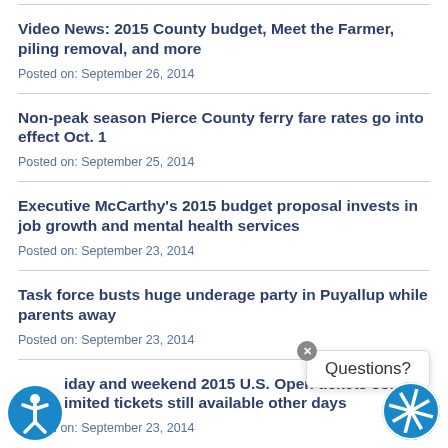Video News: 2015 County budget, Meet the Farmer, piling removal, and more
Posted on: September 26, 2014
Non-peak season Pierce County ferry fare rates go into effect Oct. 1
Posted on: September 25, 2014
Executive McCarthy’s 2015 budget proposal invests in job growth and mental health services
Posted on: September 23, 2014
Task force busts huge underage party in Puyallup while parents away
Posted on: September 23, 2014
iday and weekend 2015 U.S. Open tickets sold — imited tickets still available other days
Posted on: September 23, 2014